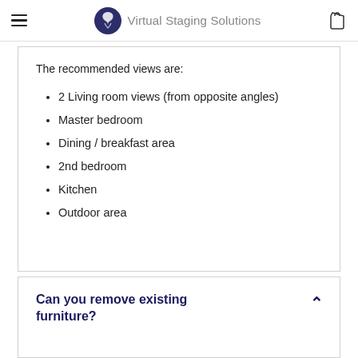Virtual Staging Solutions
The recommended views are:
2 Living room views (from opposite angles)
Master bedroom
Dining / breakfast area
2nd bedroom
Kitchen
Outdoor area
Can you remove existing furniture?